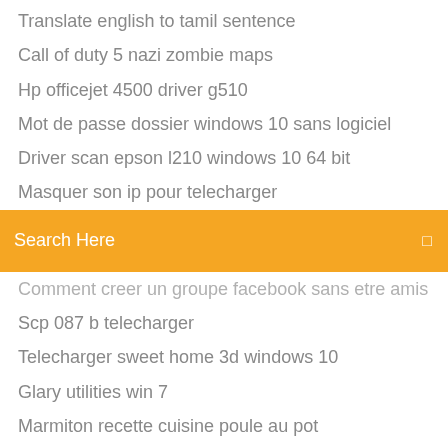Translate english to tamil sentence
Call of duty 5 nazi zombie maps
Hp officejet 4500 driver g510
Mot de passe dossier windows 10 sans logiciel
Driver scan epson l210 windows 10 64 bit
Masquer son ip pour telecharger
[Figure (screenshot): Orange search bar with 'Search Here' placeholder text and a small icon on the right]
Comment creer un groupe facebook sans etre amis
Scp 087 b telecharger
Telecharger sweet home 3d windows 10
Glary utilities win 7
Marmiton recette cuisine poule au pot
Telecharger pilote carte rèseau windows xp sp3
Clean master pc windows 7 gratuit
Sims 3 university télécharger free
Telecharger des jeux android sans passer par google play
Telecharger call of duty ww2 pour android
Mettre des films sur ipad depuis pc